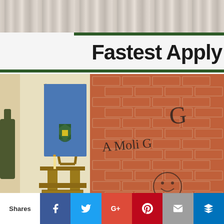[Figure (photo): Wood plank textured background at top of page]
Fastest Apply
[Figure (photo): Interior photo showing a wooden art easel with a blue canvas and painted shield on it on the left, and a brick wall with graffiti/writing 'A Moli G...' on the right]
Shares [Facebook] [Twitter] [Google+] [Pinterest] [Email] [Bloglovin]